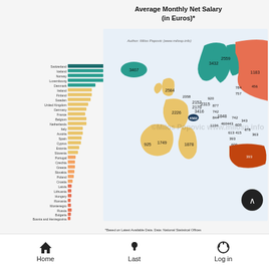Average Monthly Net Salary (in Euros)*
[Figure (bar-chart): Average Monthly Net Salary (in Euros)*]
[Figure (map): Choropleth map of Europe showing average monthly net salary in Euros by country, color-coded from dark orange/red (lowest) to teal/dark teal (highest). Numbers displayed on each country.]
*Based on Latest Available Data. Data: National Statistical Offices
Home   Last   Log in